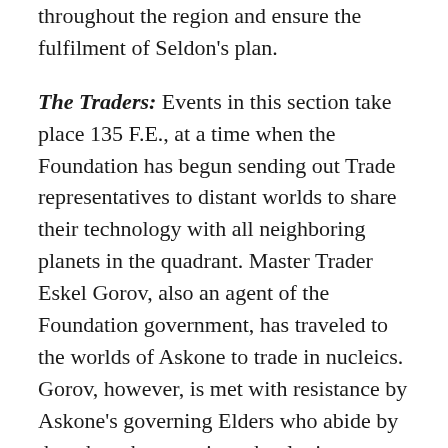throughout the region and ensure the fulfilment of Seldon's plan.
The Traders: Events in this section take place 135 F.E., at a time when the Foundation has begun sending out Trade representatives to distant worlds to share their technology with all neighboring planets in the quadrant. Master Trader Eskel Gorov, also an agent of the Foundation government, has traveled to the worlds of Askone to trade in nucleics. Gorov, however, is met with resistance by Askone's governing Elders who abide by the taboo that certain technologies are morally proscribed.
Enter the protagonist, Trader and Foundation agent Linmar Ponyets, who is sent to Askone's central planet to negotiate the release of Gorov,